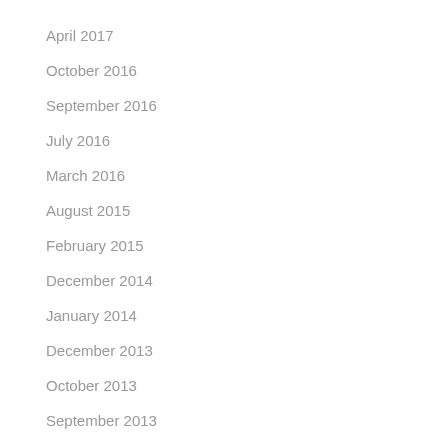April 2017
October 2016
September 2016
July 2016
March 2016
August 2015
February 2015
December 2014
January 2014
December 2013
October 2013
September 2013
July 2013
June 2013